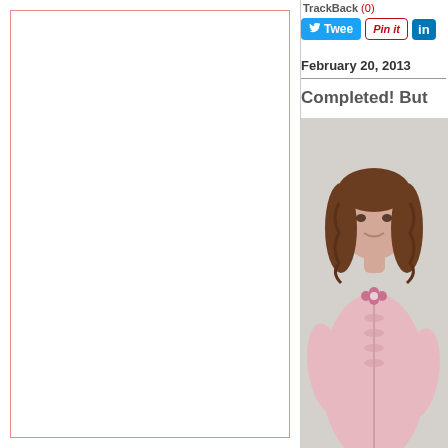TrackBack (0)
[Figure (screenshot): Social media sharing buttons: Tweet (Twitter), Pin it (Pinterest), In (LinkedIn)]
February 20, 2013
Completed! But
[Figure (photo): Photo of a person with brown wavy hair wearing a pink ruffled long-sleeve cardigan or dress, against a light gray background]